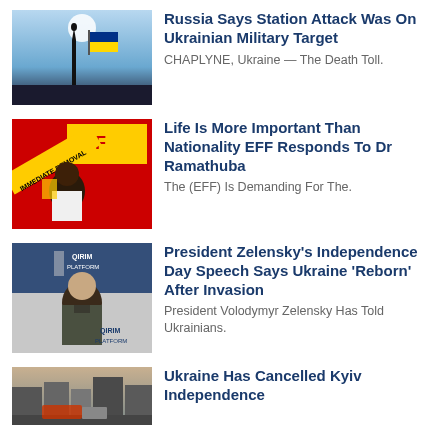[Figure (photo): Ukrainian monument with Ukrainian flag against blue sky]
Russia Says Station Attack Was On Ukrainian Military Target
CHAPLYNE, Ukraine — The Death Toll.
[Figure (photo): EFF political scene with woman and IMMEDIATE REMOVAL banner]
Life Is More Important Than Nationality EFF Responds To Dr Ramathuba
The (EFF) Is Demanding For The.
[Figure (photo): President Zelensky at Qirim Platform event]
President Zelensky's Independence Day Speech Says Ukraine 'Reborn' After Invasion
President Volodymyr Zelensky Has Told Ukrainians.
[Figure (photo): City street scene, Kyiv]
Ukraine Has Cancelled Kyiv Independence